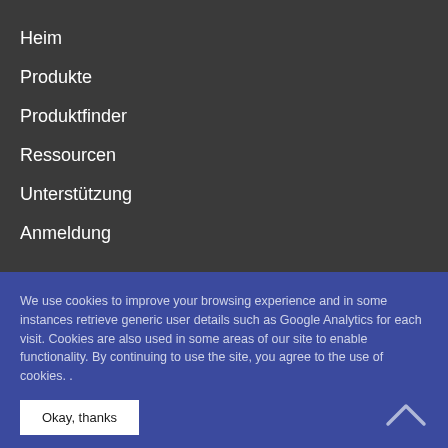Heim
Produkte
Produktfinder
Ressourcen
Unterstützung
Anmeldung
We use cookies to improve your browsing experience and in some instances retrieve generic user details such as Google Analytics for each visit. Cookies are also used in some areas of our site to enable functionality. By continuing to use the site, you agree to the use of cookies. .
Okay, thanks